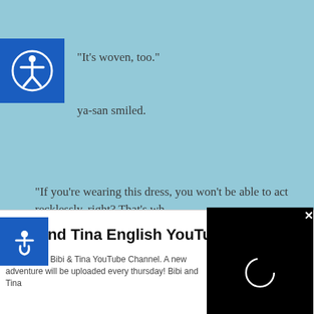“It’s woven, too.”
ya-san smiled.
[Figure (other): Accessibility icon: circular figure with arms outstretched on blue square background]
“If you’re wearing this dress, you won’t be able to act recklessly, right? That’s wh
[Figure (other): Accessibility wheelchair icon on blue square background]
[Figure (screenshot): Video player overlay with black background, loading spinner (circle), and X close button in top right]
I couldn’t even say, “Guh...”
Beatrice and Maya-san thoüght of me as a reckleß…
[Figure (other): Gray circle with X close button]
[Figure (other): Chevron/down arrow navigation bar element]
Bibi and Tina English YouTube
The Official Bibi & Tina YouTube Channel. A new adventure will be uploaded every thursday! Bibi and Tina
Subscribe